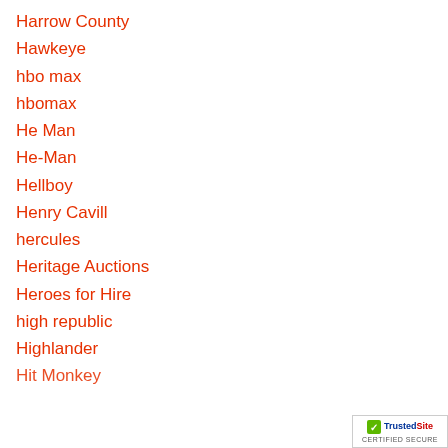Harrow County
Hawkeye
hbo max
hbomax
He Man
He-Man
Hellboy
Henry Cavill
hercules
Heritage Auctions
Heroes for Hire
high republic
Highlander
Hit Monkey
[Figure (logo): TrustedSite Certified Secure badge with green checkmark]